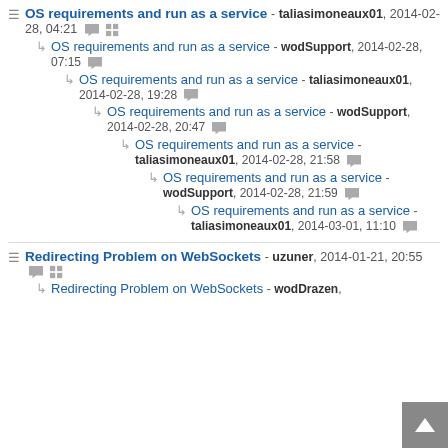OS requirements and run as a service - taliasimoneaux01, 2014-02-28, 04:21
OS requirements and run as a service - wodSupport, 2014-02-28, 07:15
OS requirements and run as a service - taliasimoneaux01, 2014-02-28, 19:28
OS requirements and run as a service - wodSupport, 2014-02-28, 20:47
OS requirements and run as a service - taliasimoneaux01, 2014-02-28, 21:58
OS requirements and run as a service - wodSupport, 2014-02-28, 21:59
OS requirements and run as a service - taliasimoneaux01, 2014-03-01, 11:10
Redirecting Problem on WebSockets - uzuner, 2014-01-21, 20:55
Redirecting Problem on WebSockets - wodDrazen,